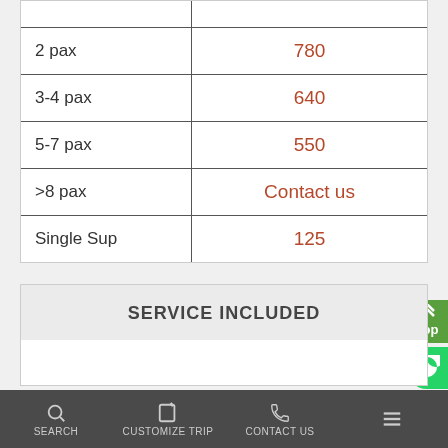|  |  |
| --- | --- |
| 2 pax | 780 |
| 3-4 pax | 640 |
| 5-7 pax | 550 |
| >8 pax | Contact us |
| Single Sup | 125 |
SERVICE INCLUDED
SEARCH | CUSTOMIZE TRIP | CONTACT US | Menu